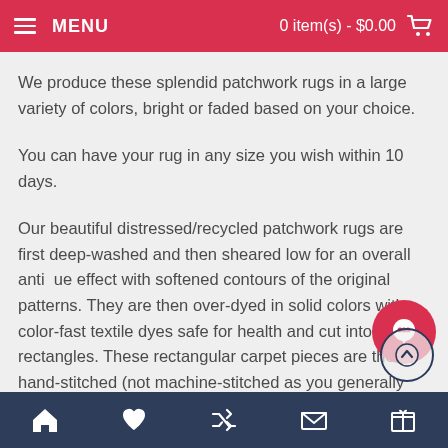MENU   0 item(s) - $0.00
We produce these splendid patchwork rugs in a large variety of colors, bright or faded based on your choice.
You can have your rug in any size you wish within 10 days.
Our beautiful distressed/recycled patchwork rugs are first deep-washed and then sheared low for an overall antique effect with softened contours of the original patterns. They are then over-dyed in solid colors with color-fast textile dyes safe for health and cut into rectangles. These rectangular carpet pieces are then hand-stitched (not machine-stitched as you generally would find in many other rugs made in the same fashion) to each other and sewn (not glued) at the back with a dark-colored, strong and durable
Home | Wishlist | Shuffle | Mail | Gift